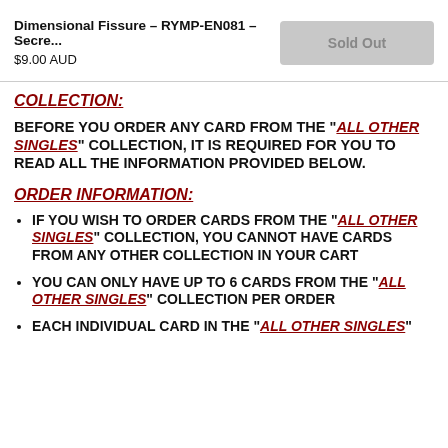Dimensional Fissure - RYMP-EN081 - Secre... $9.00 AUD Sold Out
COLLECTION:
BEFORE YOU ORDER ANY CARD FROM THE "ALL OTHER SINGLES" COLLECTION, IT IS REQUIRED FOR YOU TO READ ALL THE INFORMATION PROVIDED BELOW.
ORDER INFORMATION:
IF YOU WISH TO ORDER CARDS FROM THE "ALL OTHER SINGLES" COLLECTION, YOU CANNOT HAVE CARDS FROM ANY OTHER COLLECTION IN YOUR CART
YOU CAN ONLY HAVE UP TO 6 CARDS FROM THE "ALL OTHER SINGLES" COLLECTION PER ORDER
EACH INDIVIDUAL CARD IN THE "ALL OTHER SINGLES"